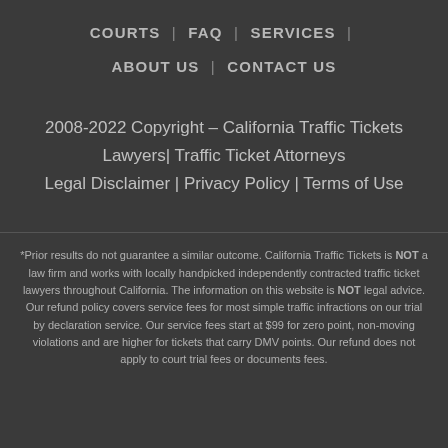COURTS | FAQ | SERVICES | ABOUT US | CONTACT US
2008-2022 Copyright – California Traffic Tickets Lawyers| Traffic Ticket Attorneys
Legal Disclaimer | Privacy Policy | Terms of Use
*Prior results do not guarantee a similar outcome. California Traffic Tickets is NOT a law firm and works with locally handpicked independently contracted traffic ticket lawyers throughout California. The information on this website is NOT legal advice. Our refund policy covers service fees for most simple traffic infractions on our trial by declaration service. Our service fees start at $99 for zero point, non-moving violations and are higher for tickets that carry DMV points. Our refund does not apply to court trial fees or documents fees.